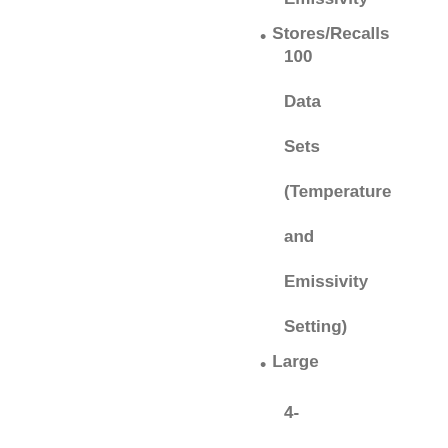Emissivity
Stores/Recalls 100 Data Sets (Temperature and Emissivity Setting)
Large 4-Digit Backlit Display with Dual Readouts
HI